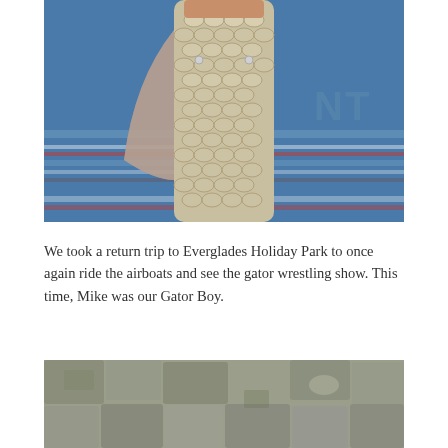[Figure (photo): Close-up photo of a person holding up a fish (likely a trout or bass) with visible scales on the belly, against a blue striped shirt background.]
We took a return trip to Everglades Holiday Park to once again ride the airboats and see the gator wrestling show. This time, Mike was our Gator Boy.
[Figure (photo): Partial photo at bottom of page showing rocky or scaly textured surface, likely a close-up of an alligator's back or skin.]